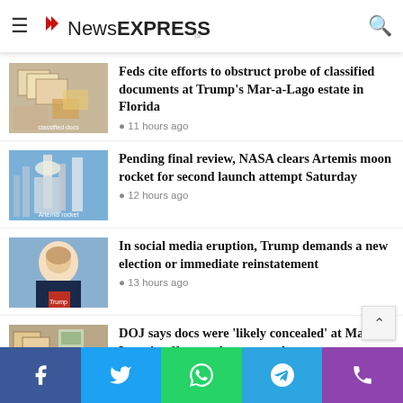NewsEXPRESS ts
… collapses in Nigeria's Kano State
[Figure (photo): Documents and envelopes laid out on a table, related to classified documents]
Feds cite efforts to obstruct probe of classified documents at Trump's Mar-a-Lago estate in Florida
11 hours ago
[Figure (photo): NASA Artemis rocket on launch pad]
Pending final review, NASA clears Artemis moon rocket for second launch attempt Saturday
12 hours ago
[Figure (photo): Donald Trump portrait photo]
In social media eruption, Trump demands a new election or immediate reinstatement
13 hours ago
[Figure (photo): Collage of documents and images related to Mar-a-Lago]
DOJ says docs were 'likely concealed' at Mar-a-Lago in effort to obstruct probe
13 hours ago
Facebook | Twitter | WhatsApp | Telegram | Phone